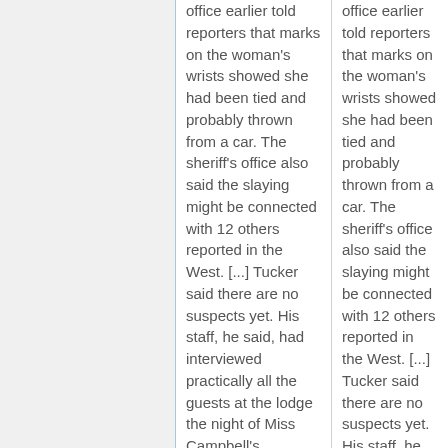office earlier told reporters that marks on the woman's wrists showed she had been tied and probably thrown from a car. The sheriff's office also said the slaying might be connected with 12 others reported in the West. [...] Tucker said there are no suspects yet. His staff, he said, had interviewed practically all the guests at the lodge the night of Miss Campbell's
office earlier told reporters that marks on the woman's wrists showed she had been tied and probably thrown from a car. The sheriff's office also said the slaying might be connected with 12 others reported in the West. [...] Tucker said there are no suspects yet. His staff, he said, had interviewed practically all the guests at the lodge the night of Miss Campbell's